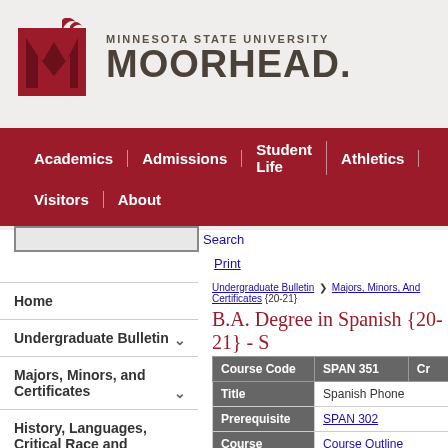myMSUM  Directory  Email
[Figure (logo): Minnesota State University Moorhead logo with red M and university name]
Academics | Admissions | Student Life | Athletics | Visitors | About
Search  Print
Undergraduate Bulletin > Majors, Minors, And Certificates {20-21}
B.A. Degree in Spanish {20-21} - S
| Course Code | SPAN 351 | Cr |
| --- | --- | --- |
| Title | Spanish Phone |  |
| Prerequisite | SPAN 302 |  |
| Course Outline | Course Outline |  |
| Description | This course is c... perception of s... dialectology. St... their pronuncia... |  |
Home
Undergraduate Bulletin
Majors, Minors, and Certificates
History, Languages, Critical Race and Women's Studies
B.A. Degree in East